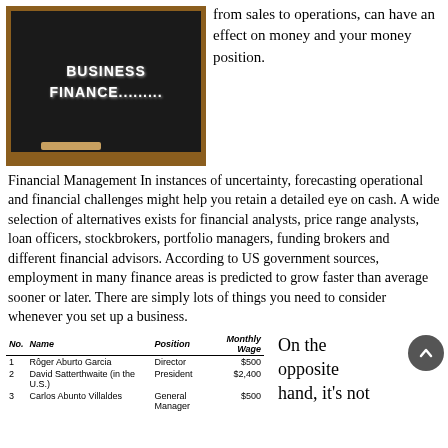[Figure (photo): Chalkboard image with text 'BUSINESS FINANCE.........' in white bold font on dark background with wooden frame/tray]
from sales to operations, can have an effect on money and your money position.
Financial Management In instances of uncertainty, forecasting operational and financial challenges might help you retain a detailed eye on cash. A wide selection of alternatives exists for financial analysts, price range analysts, loan officers, stockbrokers, portfolio managers, funding brokers and different financial advisors. According to US government sources, employment in many finance areas is predicted to grow faster than average sooner or later. There are simply lots of things you need to consider whenever you set up a business.
| No. | Name | Position | Monthly
Wage |
| --- | --- | --- | --- |
| 1 | Rôger Aburto Garcia | Director | $500 |
| 2 | David Satterthwaite (in the U.S.) | President | $2,400 |
| 3 | Carlos Abunto Villaldes | General Manager | $500 |
On the opposite hand, it's not